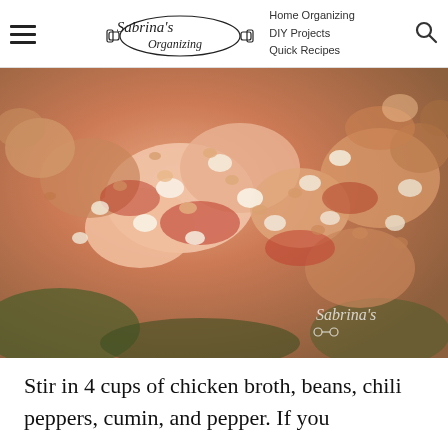Sabrina's Organizing | Home Organizing | DIY Projects | Quick Recipes
[Figure (photo): Close-up food photo of cooked ground chicken with diced onions and tomato sauce in a pan, with Sabrina's Organizing watermark in bottom right]
Stir in 4 cups of chicken broth, beans, chili peppers, cumin, and pepper.  If you